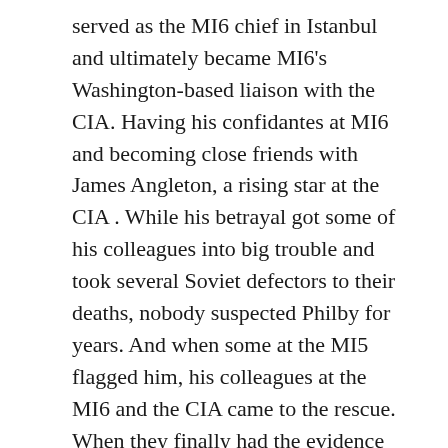served as the MI6 chief in Istanbul and ultimately became MI6's Washington-based liaison with the CIA. Having his confidantes at MI6 and becoming close friends with James Angleton, a rising star at the CIA . While his betrayal got some of his colleagues into big trouble and took several Soviet defectors to their deaths, nobody suspected Philby for years. And when some at the MI5 flagged him, his colleagues at the MI6 and the CIA came to the rescue. When they finally had the evidence to confront him, Philby had already provided secret information to the Soviets for 30 years!
Continue reading